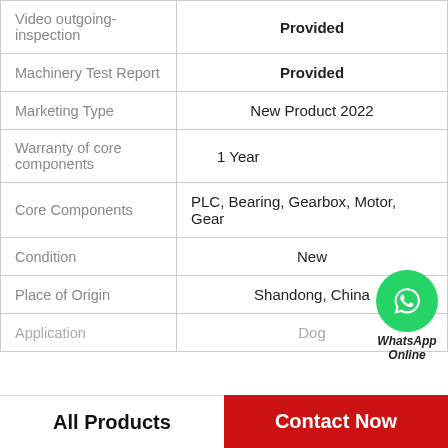| Field | Value |
| --- | --- |
| Video outgoing-inspection | Provided |
| Machinery Test Report | Provided |
| Marketing Type | New Product 2022 |
| Warranty of core components | 1 Year |
| Core Components | PLC, Bearing, Gearbox, Motor, Gear |
| Condition | New |
| Place of Origin | Shandong, China |
| Application | Dog |
[Figure (logo): WhatsApp green circle icon with phone symbol and text 'WhatsApp Online']
All Products   Contact Now